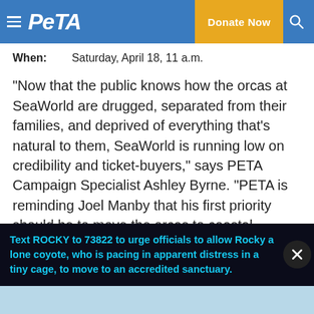PETA — Donate Now
When:   Saturday, April 18, 11 a.m.
“Now that the public knows how the orcas at SeaWorld are drugged, separated from their families, and deprived of everything that’s natural to them, SeaWorld is running low on credibility and ticket-buyers,” says PETA Campaign Specialist Ashley Byrne. “PETA is reminding Joel Manby that his first priority should be to move the orcas to coastal sanctuaries, where they could finally live a more natural life.”
At least 37 orcas have died at U.S. SeaWorld parks and…
Text ROCKY to 73822 to urge officials to allow Rocky a lone coyote, who is pacing in apparent distress in a tiny cage, to move to an accredited sanctuary.